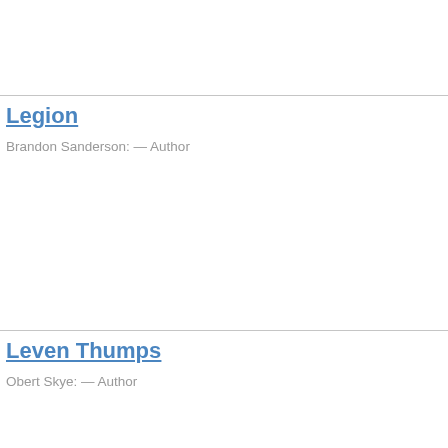Legion — Brandon Sanderson: — Author
Leven Thumps — Obert Skye: — Author
Seeds of Rebellion — Brandon Mull: — Author
Tiger's Curse — Colleen Houck: — Author
Time Gangsters — Berin L. Stephens: — Author